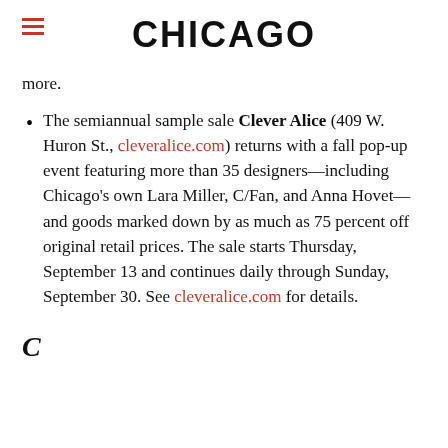CHICAGO
more.
The semiannual sample sale Clever Alice (409 W. Huron St., cleveralice.com) returns with a fall pop-up event featuring more than 35 designers—including Chicago's own Lara Miller, C/Fan, and Anna Hovet—and goods marked down by as much as 75 percent off original retail prices. The sale starts Thursday, September 13 and continues daily through Sunday, September 30. See cleveralice.com for details.
C